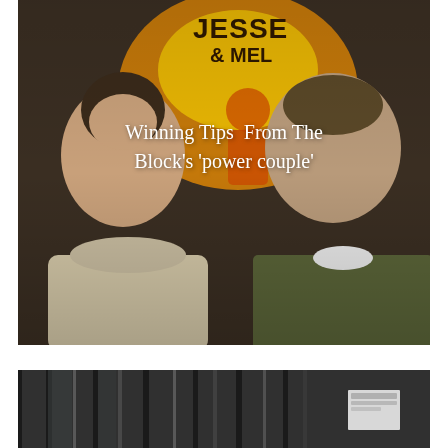[Figure (photo): Photo of two people (a woman with dark hair in a bun wearing a cream turtleneck sweater, and a man in a green jacket and white shirt) posing in front of an orange promotional sign reading 'Jesse & Mel'. White overlay text reads: Winning Tips From The Block's 'power couple'.]
Winning Tips  From The Block's 'power couple'
[Figure (photo): Partial photo showing a building exterior with vertical architectural elements and a white rectangular object visible on the right side, dark tones overall.]